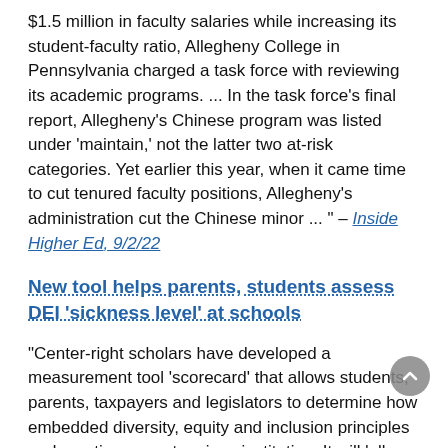$1.5 million in faculty salaries while increasing its student-faculty ratio, Allegheny College in Pennsylvania charged a task force with reviewing its academic programs. ... In the task force's final report, Allegheny's Chinese program was listed under 'maintain,' not the latter two at-risk categories. Yet earlier this year, when it came time to cut tenured faculty positions, Allegheny's administration cut the Chinese minor ... " – Inside Higher Ed, 9/2/22
New tool helps parents, students assess DEI 'sickness level' at schools
"Center-right scholars have developed a measurement tool 'scorecard' that allows students, parents, taxpayers and legislators to determine how embedded diversity, equity and inclusion principles and practices are at a given institution. It will 'allow stakeholders to assess the